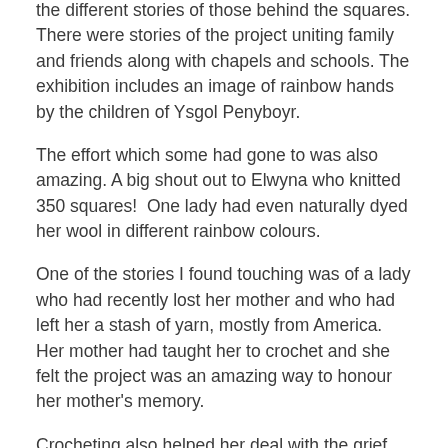the different stories of those behind the squares. There were stories of the project uniting family and friends along with chapels and schools. The exhibition includes an image of rainbow hands by the children of Ysgol Penyboyr.
The effort which some had gone to was also amazing. A big shout out to Elwyna who knitted 350 squares!  One lady had even naturally dyed her wool in different rainbow colours.
One of the stories I found touching was of a lady who had recently lost her mother and who had left her a stash of yarn, mostly from America. Her mother had taught her to crochet and she felt the project was an amazing way to honour her mother's memory.
Crocheting also helped her deal with the grief during this time as she found it therapeutic and relaxing. Others also spoke of the art of crocheting and making the squares as being a therapeutic and relaxing process.